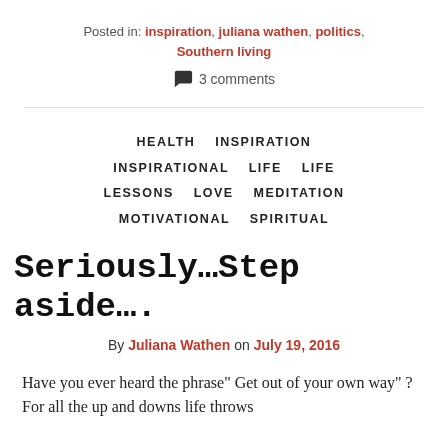Posted in: inspiration, juliana wathen, politics, Southern living
3 comments
HEALTH   INSPIRATION   INSPIRATIONAL   LIFE   LIFE LESSONS   LOVE   MEDITATION   MOTIVATIONAL   SPIRITUAL
Seriously…Step aside….
By Juliana Wathen on July 19, 2016
Have you ever heard the phrase" Get out of your own way" ? For all the up and downs life throws